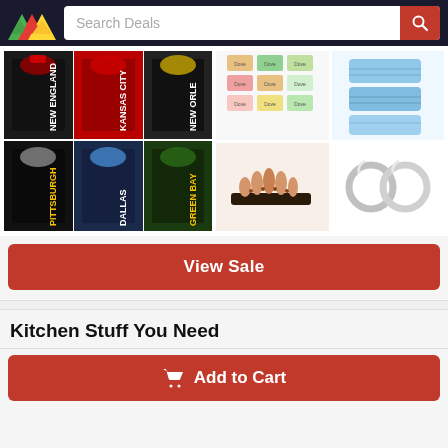Search Deals
[Figure (photo): NFL team t-shirts grid showing New England, Kansas City, New Orleans, Pittsburgh, Dallas, Green Bay team shirts in various colors]
[Figure (photo): Dove soap bars variety pack]
[Figure (photo): Blue disposable face masks]
[Figure (photo): Copper compression toe separators/bunion correctors]
[Figure (photo): Silver hoop earrings pair]
View Sale
Kitchen Stuff You Need
Add to Cart